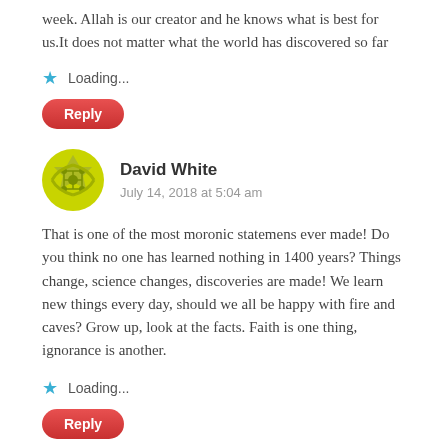week. Allah is our creator and he knows what is best for us.It does not matter what the world has discovered so far
Loading...
Reply
David White
July 14, 2018 at 5:04 am
That is one of the most moronic statemens ever made! Do you think no one has learned nothing in 1400 years? Things change, science changes, discoveries are made! We learn new things every day, should we all be happy with fire and caves? Grow up, look at the facts. Faith is one thing, ignorance is another.
Loading...
Reply